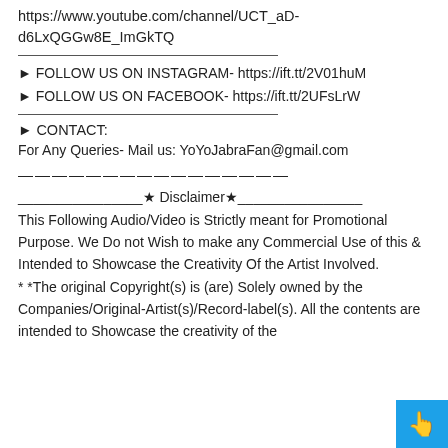https://www.youtube.com/channel/UCT_aD-d6LxQGGw8E_ImGkTQ
► FOLLOW US ON INSTAGRAM- https://ift.tt/2V01huM
► FOLLOW US ON FACEBOOK- https://ift.tt/2UFsLrW
► CONTACT:
For Any Queries- Mail us: YoYoJabraFan@gmail.com
————————————————
________________★ Disclaimer★________________
This Following Audio/Video is Strictly meant for Promotional Purpose. We Do not Wish to make any Commercial Use of this & Intended to Showcase the Creativity Of the Artist Involved.
* *The original Copyright(s) is (are) Solely owned by the Companies/Original-Artist(s)/Record-label(s). All the contents are intended to Showcase the creativity of the artist and we do not intend these for commercial use.